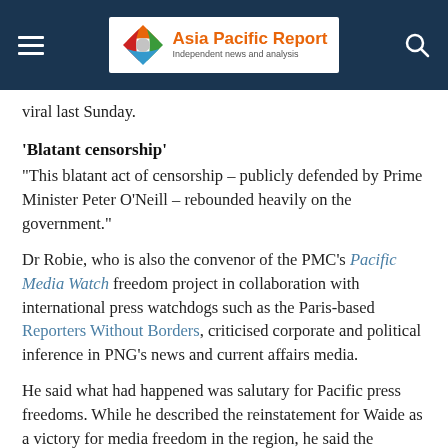Asia Pacific Report — Independent news and analysis
viral last Sunday.
'Blatant censorship'
“This blatant act of censorship – publicly defended by Prime Minister Peter O’Neill – rebounded heavily on the government.”
Dr Robie, who is also the convenor of the PMC’s Pacific Media Watch freedom project in collaboration with international press watchdogs such as the Paris-based Reporters Without Borders, criticised corporate and political inference in PNG’s news and current affairs media.
He said what had happened was salutary for Pacific press freedoms. While he described the reinstatement for Waide as a victory for media freedom in the region, he said the journalists’